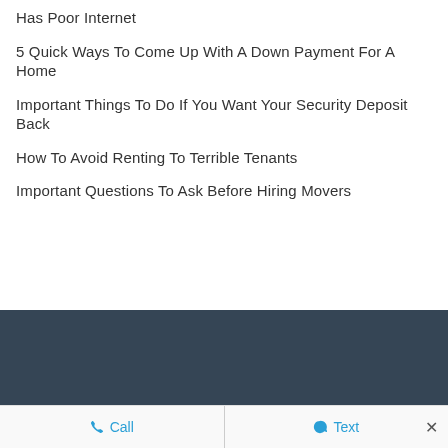Has Poor Internet
5 Quick Ways To Come Up With A Down Payment For A Home
Important Things To Do If You Want Your Security Deposit Back
How To Avoid Renting To Terrible Tenants
Important Questions To Ask Before Hiring Movers
Call   Text   ×